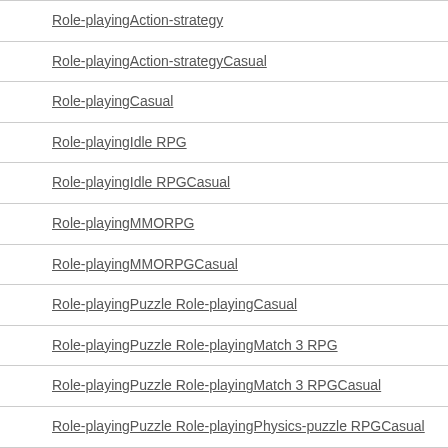Role-playingAction-strategy
Role-playingAction-strategyCasual
Role-playingCasual
Role-playingIdle RPG
Role-playingIdle RPGCasual
Role-playingMMORPG
Role-playingMMORPGCasual
Role-playingPuzzle Role-playingCasual
Role-playingPuzzle Role-playingMatch 3 RPG
Role-playingPuzzle Role-playingMatch 3 RPGCasual
Role-playingPuzzle Role-playingPhysics-puzzle RPGCasual
Role-playingRoguelike